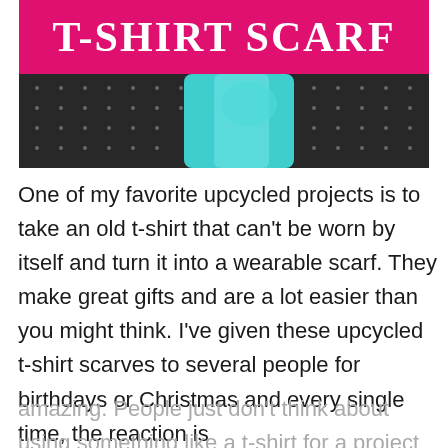[Figure (photo): Banner image with pink/magenta background showing 'T-Shirt Scarf' title text in white on a bright pink bar, below which is a photo of teal/turquoise scarf fabric against dark dotted fabric background]
One of my favorite upcycled projects is to take an old t-shirt that can't be worn by itself and turn it into a wearable scarf. They make great gifts and are a lot easier than you might think. I've given these upcycled t-shirt scarves to several people for birthdays or Christmas and every single time, the reaction is
amazing. People just don't think about using something like a t-shirt for a project